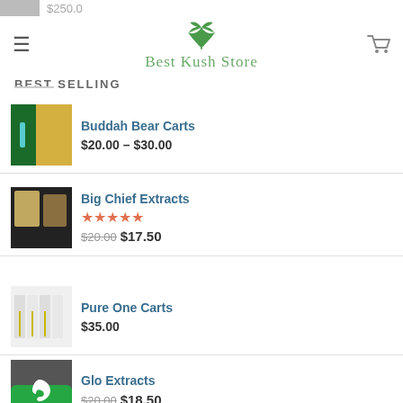Best Kush Store
BEST SELLING
Buddah Bear Carts
$20.00 – $30.00
Big Chief Extracts
★★★★★
$20.00  $17.50
Pure One Carts
$35.00
Glo Extracts
$20.00  $18.50